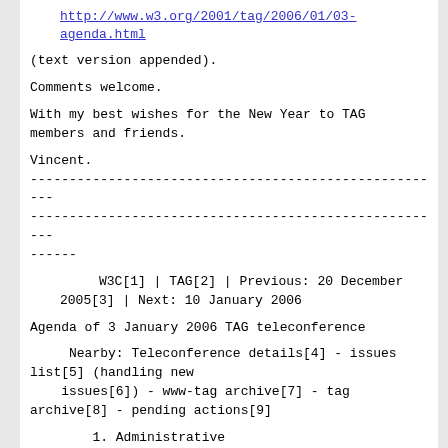http://www.w3.org/2001/tag/2006/01/03-agenda.html
(text version appended).
Comments welcome.
With my best wishes for the New Year to TAG members and friends.
Vincent.
------------------------------------------------------
------------------------------------------------------
------
W3C[1] | TAG[2] | Previous: 20 December 2005[3] | Next: 10 January 2006
Agenda of 3 January 2006 TAG teleconference
Nearby: Teleconference details[4] - issues list[5] (handling new issues[6]) - www-tag archive[7] - tag archive[8] - pending actions[9]
1. Administrative
   Roll call -- Regrets: none
   Chair: Vincent, Scribe: Norm
   Propose next teleconference: 10 January...